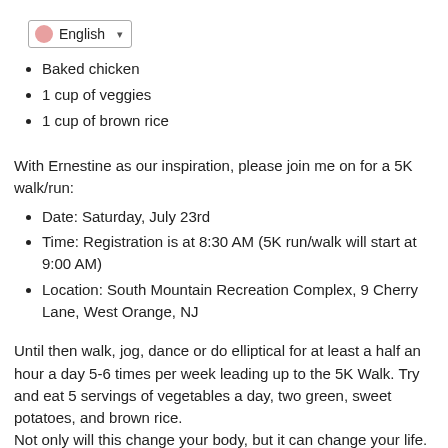[Figure (screenshot): Language selector dropdown showing 'English' with a pink circle icon and dropdown arrow]
Baked chicken
1 cup of veggies
1 cup of brown rice
With Ernestine as our inspiration, please join me on for a 5K walk/run:
Date: Saturday, July 23rd
Time: Registration is at 8:30 AM (5K run/walk will start at 9:00 AM)
Location: South Mountain Recreation Complex, 9 Cherry Lane, West Orange, NJ
Until then walk, jog, dance or do elliptical for at least a half an hour a day 5-6 times per week leading up to the 5K Walk. Try and eat 5 servings of vegetables a day, two green, sweet potatoes, and brown rice.
Not only will this change your body, but it can change your life.
To your health!
Dr. Andrei